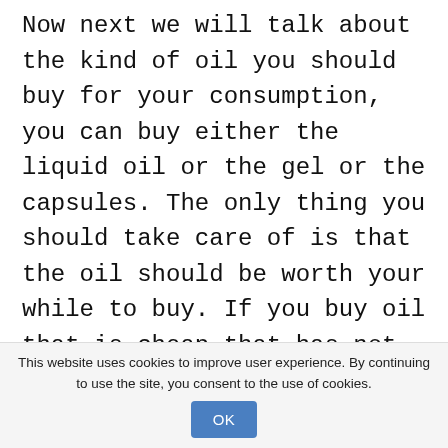Now next we will talk about the kind of oil you should buy for your consumption, you can buy either the liquid oil or the gel or the capsules. The only thing you should take care of is that the oil should be worth your while to buy. If you buy oil that is cheap that has not been purified then it will likely contain toxins.

Do not buy the cheapest or nasty brand of oil. Make sure you buy the oil that is molecularly distilled and should be worth your while. Do
This website uses cookies to improve user experience. By continuing to use the site, you consent to the use of cookies.